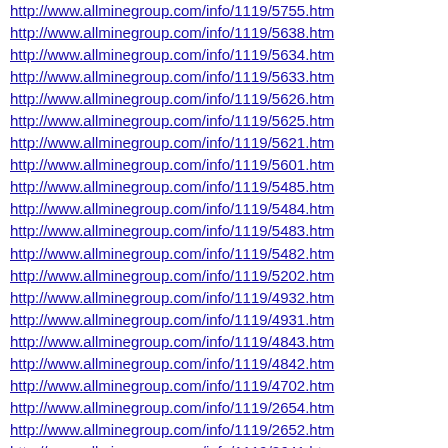http://www.allminegroup.com/info/1119/5755.htm
http://www.allminegroup.com/info/1119/5638.htm
http://www.allminegroup.com/info/1119/5634.htm
http://www.allminegroup.com/info/1119/5633.htm
http://www.allminegroup.com/info/1119/5626.htm
http://www.allminegroup.com/info/1119/5625.htm
http://www.allminegroup.com/info/1119/5621.htm
http://www.allminegroup.com/info/1119/5601.htm
http://www.allminegroup.com/info/1119/5485.htm
http://www.allminegroup.com/info/1119/5484.htm
http://www.allminegroup.com/info/1119/5483.htm
http://www.allminegroup.com/info/1119/5482.htm
http://www.allminegroup.com/info/1119/5202.htm
http://www.allminegroup.com/info/1119/4932.htm
http://www.allminegroup.com/info/1119/4931.htm
http://www.allminegroup.com/info/1119/4843.htm
http://www.allminegroup.com/info/1119/4842.htm
http://www.allminegroup.com/info/1119/4702.htm
http://www.allminegroup.com/info/1119/2654.htm
http://www.allminegroup.com/info/1119/2652.htm
http://www.allminegroup.com/info/1119/2641.htm
http://www.allminegroup.com/info/1119/2593.htm
http://www.allminegroup.com/info/1119/2582.htm
http://www.allminegroup.com/info/1119/2487.htm
http://www.allminegroup.com/info/1119/2483.htm
http://www.allminegroup.com/info/1119/2477.htm